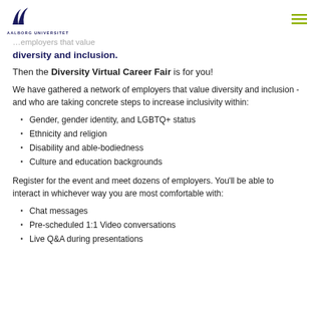AALBORG UNIVERSITET
diversity and inclusion.
Then the Diversity Virtual Career Fair is for you!
We have gathered a network of employers that value diversity and inclusion - and who are taking concrete steps to increase inclusivity within:
Gender, gender identity, and LGBTQ+ status
Ethnicity and religion
Disability and able-bodiedness
Culture and education backgrounds
Register for the event and meet dozens of employers. You'll be able to interact in whichever way you are most comfortable with:
Chat messages
Pre-scheduled 1:1 Video conversations
Live Q&A during presentations